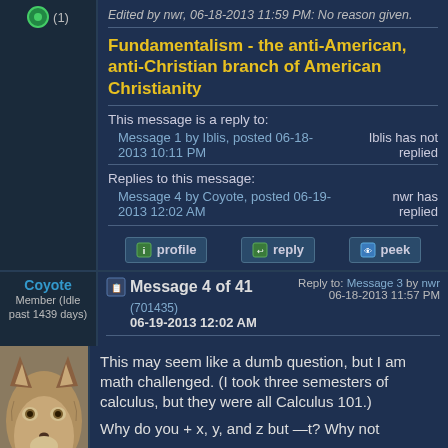Edited by nwr, 06-18-2013 11:59 PM: No reason given.
Fundamentalism - the anti-American, anti-Christian branch of American Christianity
This message is a reply to:
Message 1 by Iblis, posted 06-18-2013 10:11 PM   Iblis has not replied
Replies to this message:
Message 4 by Coyote, posted 06-19-2013 12:02 AM   nwr has replied
profile   reply   peek
Coyote
Member (Idle past 1439 days)
Message 4 of 41   Reply to: Message 3 by nwr
(701435)
06-19-2013 12:02 AM   06-18-2013 11:57 PM
This may seem like a dumb question, but I am math challenged. (I took three semesters of calculus, but they were all Calculus 101.)
Why do you + x, y, and z but —t? Why not